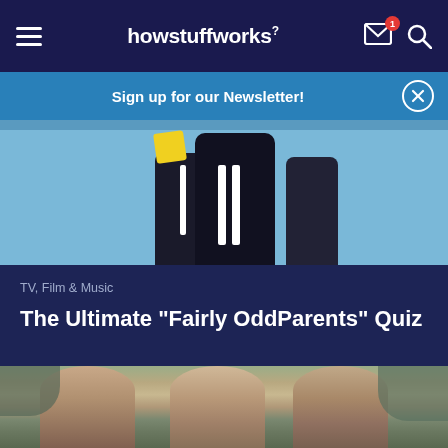howstuffworks
Sign up for our Newsletter!
[Figure (illustration): Cartoon characters from Fairly OddParents shown against a blue background, with dark silhouetted figures visible]
TV, Film & Music
The Ultimate "Fairly OddParents" Quiz
[Figure (photo): Three young women laughing together outdoors on a city street]